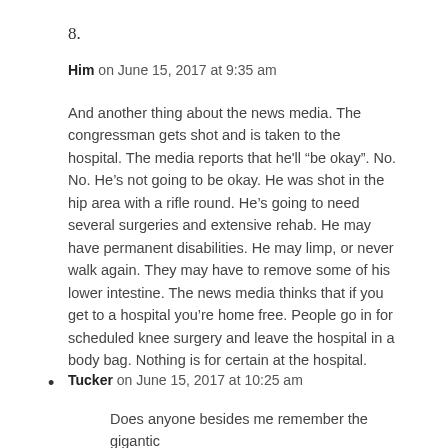8.
Him on June 15, 2017 at 9:35 am
And another thing about the news media. The congressman gets shot and is taken to the hospital. The media reports that he'll “be okay”. No. No. He’s not going to be okay. He was shot in the hip area with a rifle round. He’s going to need several surgeries and extensive rehab. He may have permanent disabilities. He may limp, or never walk again. They may have to remove some of his lower intestine. The news media thinks that if you get to a hospital you’re home free. People go in for scheduled knee surgery and leave the hospital in a body bag. Nothing is for certain at the hospital.
Tucker on June 15, 2017 at 10:25 am
Does anyone besides me remember the gigantic